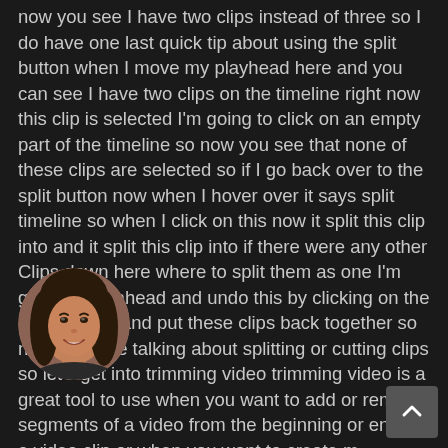now you see I have two clips instead of three so I do have one last quick tip about using the split button when I move my playhead here and you can see I have two clips on the timeline right now this clip is selected I'm going to click on an empty part of the timeline so now you see that none of these clips are selected so if I go back over to the split button now when I hover over it says split timeline so when I click on this now it split this clip into and it split this clip into if there were any other Clips down here where to split them as one I'm going to go ahead and undo this by clicking on the undo button and put these clips back together so now I'm done talking about splitting or cutting clips so let's get into trimming video trimming video is a great tool to use when you want to add or remove segments of a video from the beginning or end of a video clip or when you want to create m...lips from one clip while taking other parts out of that clip ...of Craig Craig but I'll explain it all to you in a minute s...talk about trimming the beginning or end from a c... so what you want to do is you want to left-click on a clip to se...
[Figure (photo): Circular avatar photo of a smiling woman with dark hair]